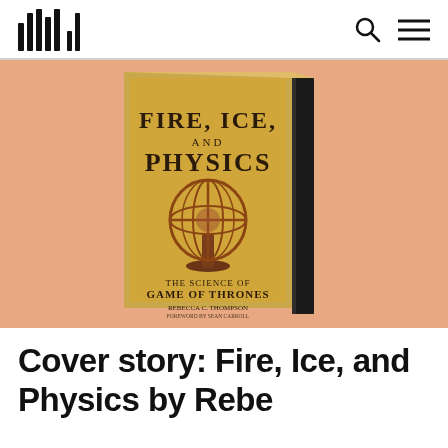[Figure (logo): Bar code / MIT Press style vertical bars logo in top left]
[Figure (photo): Book cover of 'Fire, Ice, and Physics: The Science of Game of Thrones' by Rebecca C. Thompson, foreword by Sean Carroll. Cover shows an antique armillary sphere on a yellow-gold background. Book is shown in 3D perspective with spine visible.]
Cover story: Fire, Ice, and Physics by Rebe...